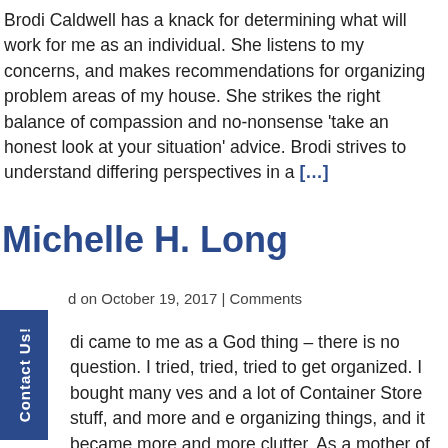Brodi Caldwell has a knack for determining what will work for me as an individual. She listens to my concerns, and makes recommendations for organizing problem areas of my house. She strikes the right balance of compassion and no-nonsense 'take an honest look at your situation' advice. Brodi strives to understand differing perspectives in a [...]
Michelle H. Long
d on October 19, 2017 | Comments
di came to me as a God thing – there is no question. I tried, tried, tried to get organized. I bought many ves and a lot of Container Store stuff, and more and e organizing things, and it became more and more clutter. As a mother of adult children, I have lots of [...]